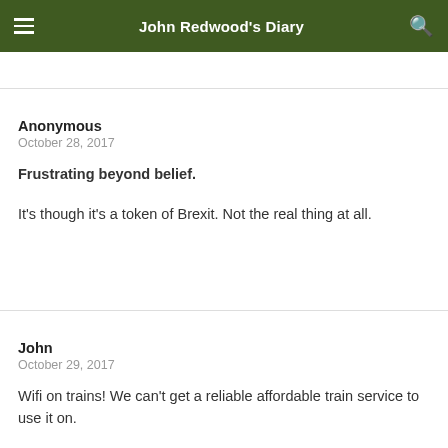John Redwood's Diary
Anonymous
October 28, 2017

Frustrating beyond belief.

It's though it's a token of Brexit. Not the real thing at all.
John
October 29, 2017

Wifi on trains! We can't get a reliable affordable train service to use it on.